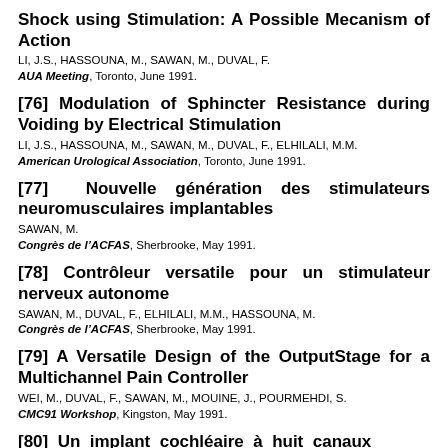Shock using Stimulation: A Possible Mecanism of Action
LI, J.S., HASSOUNA, M., SAWAN, M., DUVAL, F.
AUA Meeting, Toronto, June 1991.
[76] Modulation of Sphincter Resistance during Voiding by Electrical Stimulation
LI, J.S., HASSOUNA, M., SAWAN, M., DUVAL, F., ELHILALI, M.M.
American Urological Association, Toronto, June 1991.
[77]  Nouvelle génération des stimulateurs neuromusculaires implantables
SAWAN, M.
Congrès de l'ACFAS, Sherbrooke, May 1991.
[78] Contrôleur versatile pour un stimulateur nerveux autonome
SAWAN, M., DUVAL, F., ELHILALI, M.M., HASSOUNA, M.
Congrès de l'ACFAS, Sherbrooke, May 1991.
[79] A Versatile Design of the OutputStage for a Multichannel Pain Controller
WEI, M., DUVAL, F., SAWAN, M., MOUINE, J., POURMEHDI, S.
CMC91 Workshop, Kingston, May 1991.
[80]  Un  implant  cochléaire  à  huit  canaux